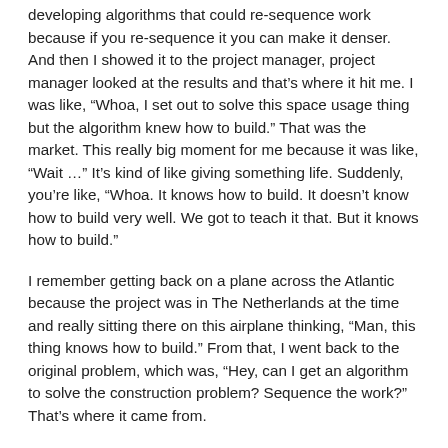developing algorithms that could re-sequence work because if you re-sequence it you can make it denser. And then I showed it to the project manager, project manager looked at the results and that's where it hit me. I was like, "Whoa, I set out to solve this space usage thing but the algorithm knew how to build." That was the market. This really big moment for me because it was like, "Wait …" It's kind of like giving something life. Suddenly, you're like, "Whoa. It knows how to build. It doesn't know how to build very well. We got to teach it that. But it knows how to build."
I remember getting back on a plane across the Atlantic because the project was in The Netherlands at the time and really sitting there on this airplane thinking, "Man, this thing knows how to build." From that, I went back to the original problem, which was, "Hey, can I get an algorithm to solve the construction problem? Sequence the work?" That's where it came from.